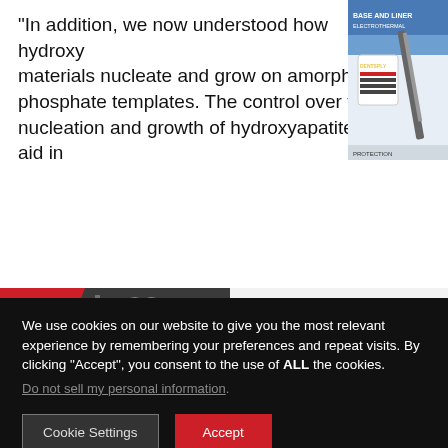“In addition, we now understood how hydroxy materials nucleate and grow on amorphous phosphate templates. The control over the nucleation and growth of hydroxyapatite will aid in
[Figure (other): Partial advertisement image in top-right corner showing a product package with base and liner dental materials]
×nts to ×oth
[Figure (logo): Glidewell Symposium 2022 logo with stylized tooth graphic surrounded by colorful dots, on a dark gray and red diagonal background banner]
We use cookies on our website to give you the most relevant experience by remembering your preferences and repeat visits. By clicking “Accept”, you consent to the use of ALL the cookies.
Do not sell my personal information.
Cookie Settings
Accept